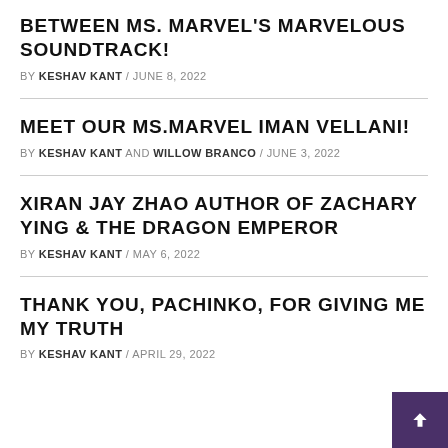BETWEEN MS. MARVEL'S MARVELOUS SOUNDTRACK!
BY KESHAV KANT / JUNE 8, 2022
MEET OUR MS.MARVEL IMAN VELLANI!
BY KESHAV KANT AND WILLOW BRANCO / JUNE 3, 2022
XIRAN JAY ZHAO AUTHOR OF ZACHARY YING & THE DRAGON EMPEROR
BY KESHAV KANT / MAY 6, 2022
THANK YOU, PACHINKO, FOR GIVING ME MY TRUTH
BY KESHAV KANT / APRIL 29, 2022